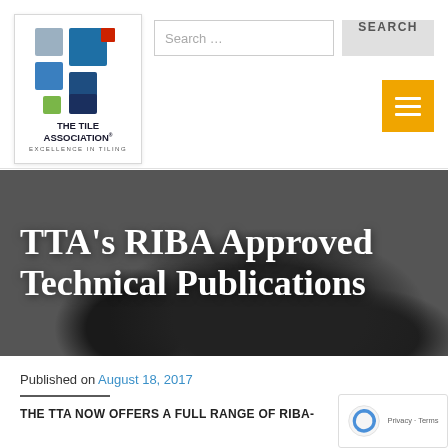[Figure (logo): The Tile Association logo — blue and gray tile squares with a red square accent, green square, text 'THE TILE ASSOCIATION' and 'EXCELLENCE IN TILING']
Search …
[Figure (screenshot): Hero banner photo of dark modern chairs/furniture in a conference or lobby area, dark overlay]
TTA's RIBA Approved Technical Publications
Published on August 18, 2017
THE TTA NOW OFFERS A FULL RANGE OF RIBA-